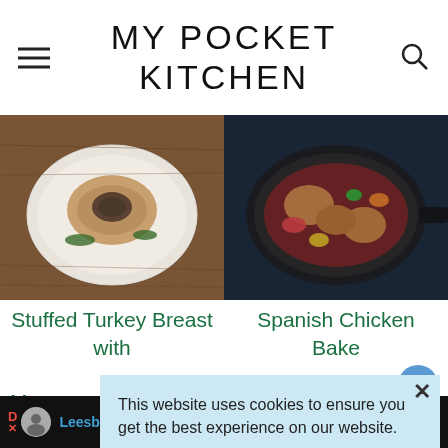MY POCKET KITCHEN
[Figure (photo): Two food photos side by side: left shows a stuffed turkey breast on a white plate on a wooden table, right shows a Spanish chicken bake in a dark skillet with colorful vegetables]
Stuffed Turkey Breast with
Spanish Chicken Bake
This website uses cookies to ensure you get the best experience on our website.
Learn more
Got it
Leesburg Premium Outlets